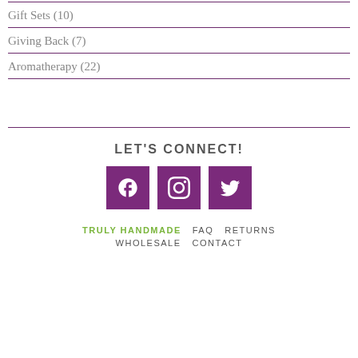Gift Sets (10)
Giving Back (7)
Aromatherapy (22)
LET'S CONNECT!
[Figure (infographic): Three purple square social media icon buttons: Facebook (f), Instagram (camera), Twitter (bird)]
TRULY HANDMADE  FAQ  RETURNS  WHOLESALE  CONTACT